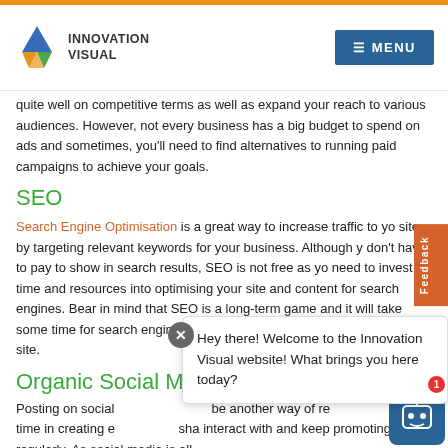Innovation Visual — MENU
quite well on competitive terms as well as expand your reach to various audiences. However, not every business has a big budget to spend on ads and sometimes, you'll need to find alternatives to running paid campaigns to achieve your goals.
SEO
Search Engine Optimisation is a great way to increase traffic to your site by targeting relevant keywords for your business. Although you don't have to pay to show in search results, SEO is not free as you need to invest time and resources into optimising your site and content for search engines. Bear in mind that SEO is a long-term game and it will take some time for search engines to react to the changes you make on your site.
Organic Social Media
Posting on social media can be another way of reaching your audience. However, you'll need to invest time in creating engaging content and share it, interact with and keep promoting it regularly. As social media is all